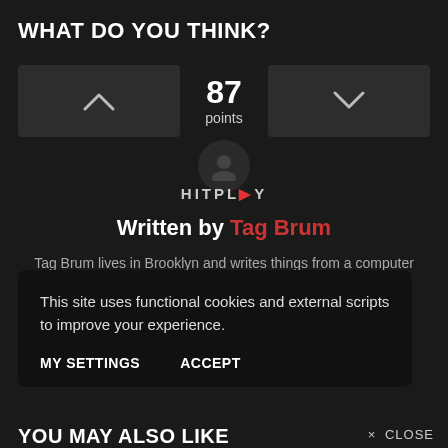WHAT DO YOU THINK?
[Figure (infographic): Voting widget with upvote button, score of 87 points, and downvote button]
[Figure (logo): HITPLAY logo]
Written by Tag Brum
Tag Brum lives in Brooklyn and writes things from a computer
This site uses functional cookies and external scripts to improve your experience.
MY SETTINGS
ACCEPT
YOU MAY ALSO LIKE
× close